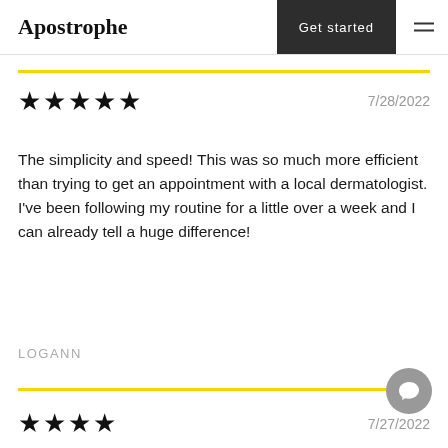Apostrophe | Get started
★★★★★  7/28/2022
The simplicity and speed! This was so much more efficient than trying to get an appointment with a local dermatologist. I've been following my routine for a little over a week and I can already tell a huge difference!
LOGANN
7/27/2022